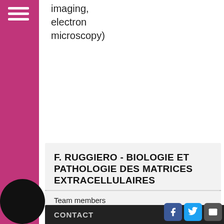imaging, electron microscopy)
F. RUGGIERO - BIOLOGIE ET PATHOLOGIE DES MATRICES EXTRACELLULAIRES
Team members
Publications
News
ZF-m@trix, the zebrafish matrisome
CONTACT